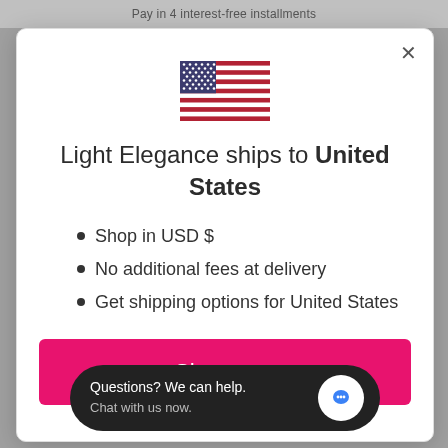Pay in 4 interest-free installments
[Figure (illustration): US flag emoji/icon — red, white and blue stripes with stars]
Light Elegance ships to United States
Shop in USD $
No additional fees at delivery
Get shipping options for United States
Shop now
Questions? We can help. Chat with us now.